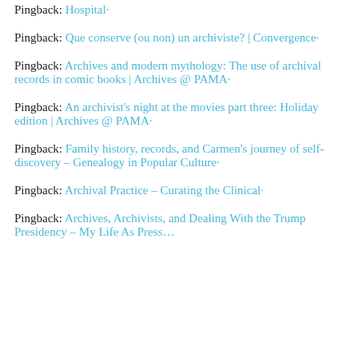Pingback: Hospital·
Pingback: Que conserve (ou non) un archiviste? | Convergence·
Pingback: Archives and modern mythology: The use of archival records in comic books | Archives @ PAMA·
Pingback: An archivist's night at the movies part three: Holiday edition | Archives @ PAMA·
Pingback: Family history, records, and Carmen's journey of self-discovery – Genealogy in Popular Culture·
Pingback: Archival Practice – Curating the Clinical·
Pingback: Archives, Archivists, and Dealing With the Trump Presidency – My Life As Press…